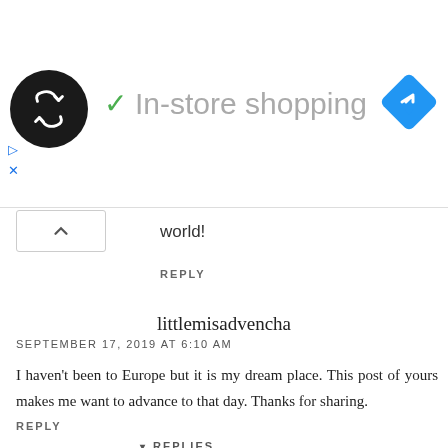[Figure (screenshot): Ad banner showing a circular black logo with looping arrows, a green checkmark, the text 'In-store shopping' in gray, and a blue diamond navigation icon on the right. Below are ad control icons (play and close).]
world!
REPLY
littlemisadvencha
SEPTEMBER 17, 2019 AT 6:10 AM
I haven't been to Europe but it is my dream place. This post of yours makes me want to advance to that day. Thanks for sharing.
REPLY
REPLIES
WanderlustBeautyDreams
DECEMBER 19, 2019 AT 2:38 PM